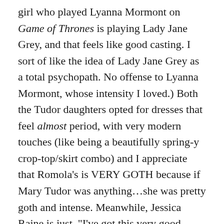girl who played Lyanna Mormont on Game of Thrones is playing Lady Jane Grey, and that feels like good casting. I sort of like the idea of Lady Jane Grey as a total psychopath. No offense to Lyanna Mormont, whose intensity I loved.) Both the Tudor daughters opted for dresses that feel almost period, with very modern touches (like being a beautifully spring-y crop-top/skirt combo) and I appreciate that Romola's is VERY GOTH because if Mary Tudor was anything…she was pretty goth and intense. Meanwhile, Jessica Raine is just, “I’ve got this very good leather-look dress I’ve been wanting to wear out. Also these great shoes. See you there!”